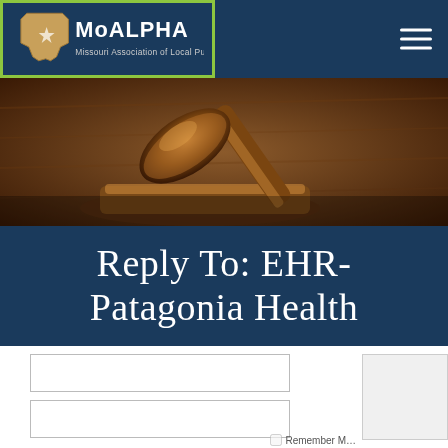MoALPHA - Missouri Association of Local Public Health Agencies
[Figure (photo): Close-up photo of a wooden judge's gavel on a dark surface with a gavel block in the background]
Reply To: EHR-Patagonia Health
Login form with username and password fields, Log In button, and Remember Me checkbox